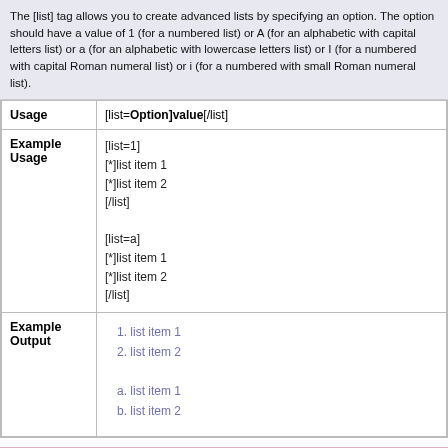The [list] tag allows you to create advanced lists by specifying an option. The option should have a value of 1 (for a numbered list) or A (for an alphabetic with capital letters list) or a (for an alphabetic with lowercase letters list) or I (for a numbered with capital Roman numeral list) or i (for a numbered with small Roman numeral list).
| Usage | Example Usage | Example Output |
| --- | --- | --- |
| Usage | [list=Option]value[/list] |
| Example Usage | [list=1]
[*]list item 1
[*]list item 2
[/list]

[list=a]
[*]list item 1
[*]list item 2
[/list] |
| Example Output | 1. list item 1
2. list item 2

a. list item 1
b. list item 2 |
Images
The [img] tag allows you to embed images within your posts. You can also combine th become links.
Usage [list=Option]value[/list]